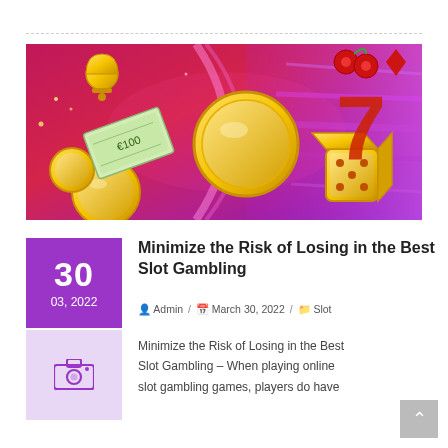[Figure (photo): Casino/gambling themed banner image with golden coins, dice, euro banknotes, cherries, a slot machine reel showing 7, and colorful glowing lights on a pink/purple/red background.]
30
03, 2022
Minimize the Risk of Losing in the Best Slot Gambling
Admin / March 30, 2022 / Slot
Minimize the Risk of Losing in the Best Slot Gambling – When playing online slot gambling games, players do have